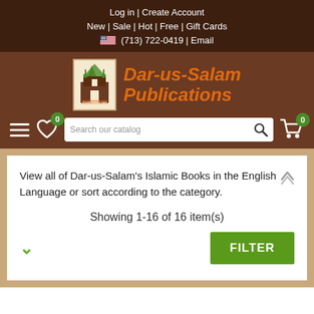Log in | Create Account
New | Sale | Hot | Free | Gift Cards
(713) 722-0419 | Email
[Figure (logo): Dar-us-Salam Publications logo with mosque icon and orange italic brand name text]
View all of Dar-us-Salam's Islamic Books in the English Language or sort according to the category.
Showing 1-16 of 16 item(s)